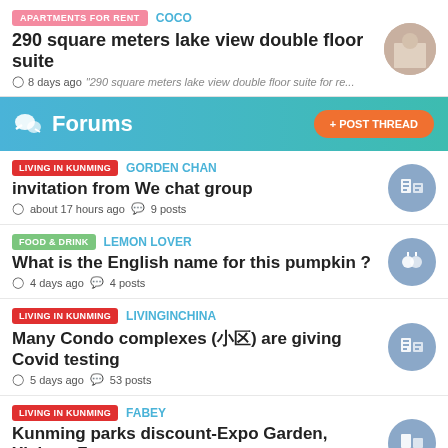APARTMENTS FOR RENT | COCO
290 square meters lake view double floor suite
8 days ago "290 square meters lake view double floor suite for re...
Forums
LIVING IN KUNMING | GORDEN CHAN
invitation from We chat group
about 17 hours ago | 9 posts
FOOD & DRINK | LEMON LOVER
What is the English name for this pumpkin ?
4 days ago | 4 posts
LIVING IN KUNMING | LIVINGINCHINA
Many Condo complexes (小区) are giving Covid testing
5 days ago | 53 posts
LIVING IN KUNMING | FABEY
Kunming parks discount-Expo Garden, Xishan, Zoo...
5 days ago | 4 posts
STUDY | LIVINGINCHINA
Study programmes with visa